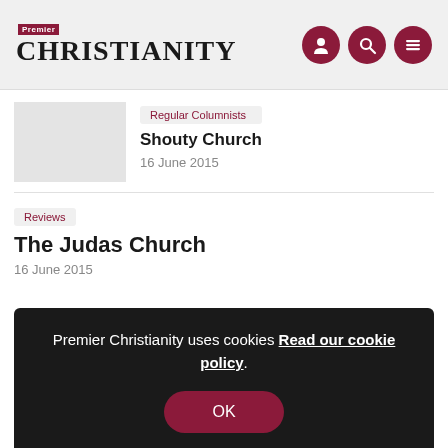Premier Christianity
Regular Columnists
Shouty Church
16 June 2015
Reviews
The Judas Church
16 June 2015
Premier Christianity uses cookies Read our cookie policy.
OK